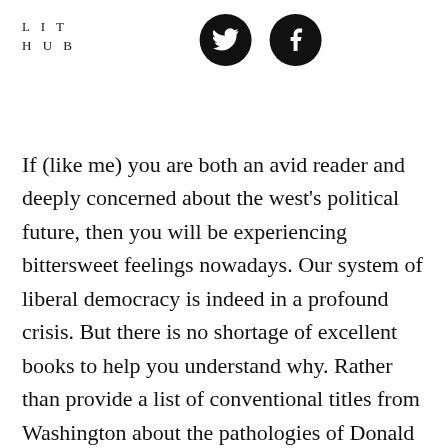LIT HUB
[Figure (illustration): Two circular black social media icons: Twitter bird icon and Facebook 'f' icon]
If (like me) you are both an avid reader and deeply concerned about the west's political future, then you will be experiencing bittersweet feelings nowadays. Our system of liberal democracy is indeed in a profound crisis. But there is no shortage of excellent books to help you understand why. Rather than provide a list of conventional titles from Washington about the pathologies of Donald Trump's administration, or the failings of this or that